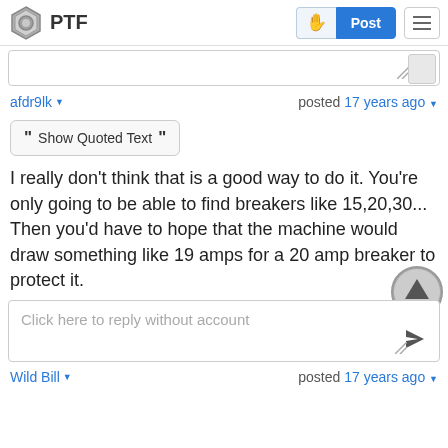PTF
afdr9lk  posted 17 years ago
Show Quoted Text
I really don't think that is a good way to do it. You're only going to be able to find breakers like 15,20,30... Then you'd have to hope that the machine would draw something like 19 amps for a 20 amp breaker to protect it.
Click here to reply without account
Wild Bill  posted 17 years ago